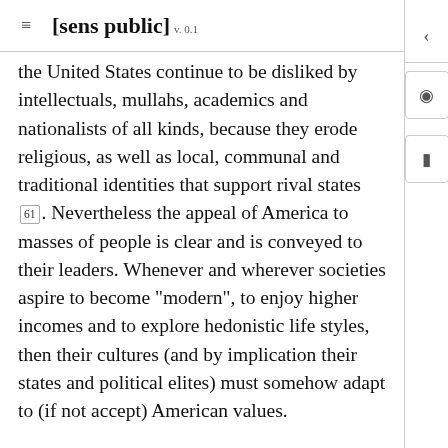[sens public] v. 0.1
the United States continue to be disliked by intellectuals, mullahs, academics and nationalists of all kinds, because they erode religious, as well as local, communal and traditional identities that support rival states 61. Nevertheless the appeal of America to masses of people is clear and is conveyed to their leaders. Whenever and wherever societies aspire to become "modern", to enjoy higher incomes and to explore hedonistic life styles, then their cultures (and by implication their states and political elites) must somehow adapt to (if not accept) American values.
The emergence of cultural power certainly has